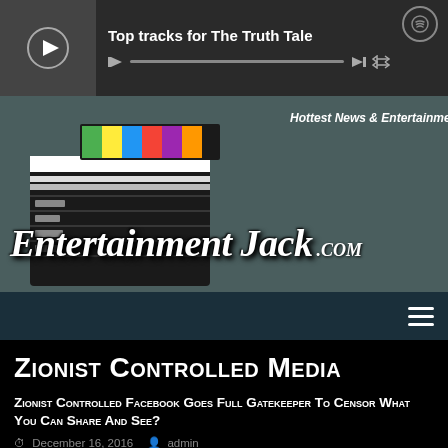[Figure (screenshot): Spotify player bar showing 'Top tracks for The Truth Tale' with playback controls, progress bar, and Spotify logo]
[Figure (logo): EntertainmentJack.com banner with clapperboard image, text 'Hottest News & Entertainment' and 'Entertainment Jack .COM' logo]
[Figure (screenshot): Dark teal navigation bar with hamburger menu icon]
Zionist Controlled Media
Zionist Controlled Facebook Goes Full Gatekeeper To Censor What You Can Share And See?
December 16, 2016 admin